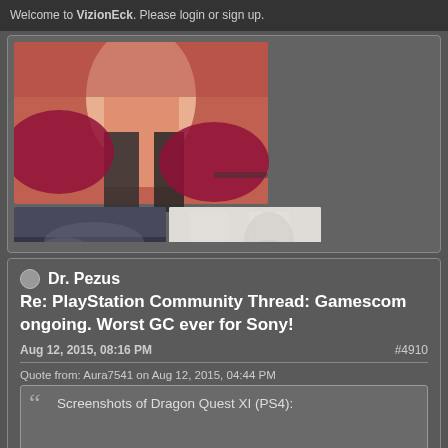Welcome to VizionEck. Please login or sign up.
[Figure (photo): Three photos: a woman in an orange/red top (cropped), a dark crowd scene, and a person with dark hair against a light background.]
Dr. Pezus
Re: PlayStation Community Thread: Gamescom ongoing. Worst GC ever for Sony!
Aug 12, 2015, 08:16 PM  #4910
Quote from: Aura7541 on Aug 12, 2015, 04:44 PM
Screenshots of Dragon Quest XI (PS4):